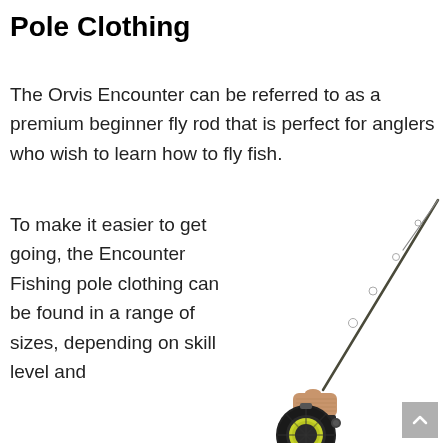Pole Clothing
The Orvis Encounter can be referred to as a premium beginner fly rod that is perfect for anglers who wish to learn how to fly fish.
To make it easier to get going, the Encounter Fishing pole clothing can be found in a range of sizes, depending on skill level and
[Figure (photo): A fly fishing rod and reel combo shown diagonally, with a cork grip handle and a large black fly reel with yellow-green line. The rod extends from lower-right to upper-right. White background.]